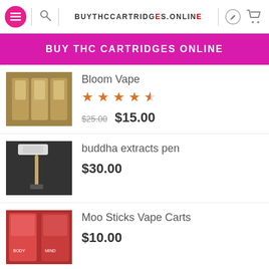BUYTHCCARTRIDGES.ONLINE
BUY THC CARTRIDGES ONLINE
Bloom Vape | Rating: 4.5 stars | $25.00 sale $15.00
buddha extracts pen | $30.00
Moo Sticks Vape Carts | $10.00
FEATURED